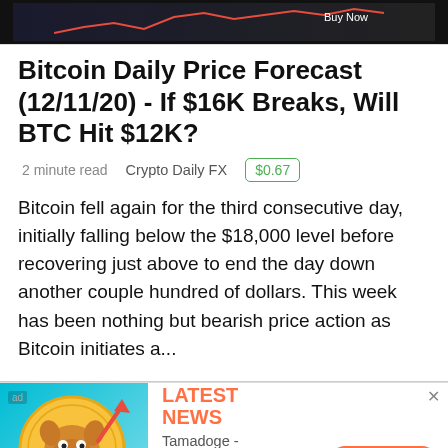[Figure (screenshot): Dark banner with a crypto price chart graphic at the top of the page]
Bitcoin Daily Price Forecast (12/11/20) - If $16K Breaks, Will BTC Hit $12K?
2 minute read   Crypto Daily FX   $0.67
Bitcoin fell again for the third consecutive day, initially falling below the $18,000 level before recovering just above to end the day down another couple hundred of dollars. This week has been nothing but bearish price action as Bitcoin initiates a...
[Figure (illustration): Tamadoge advertisement banner with dog coin mascot, bar chart, LATEST NEWS text, description about Tamadoge raising $500k in last 24 hours, and INVEST NOW button]